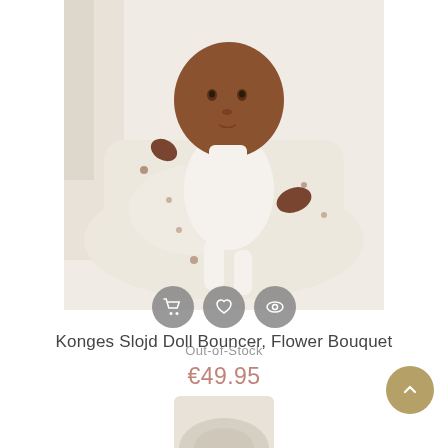[Figure (photo): Baby doll lying in a cream/off-white bouncer seat with a flower bouquet pattern. The doll has brown skin and is wearing a white outfit. There are three circular action buttons overlaid at the bottom of the image (cart, heart/wishlist, eye/view). Text 'Out-of-Stock' appears below the buttons.]
Konges Slojd Doll Bouncer, Flower Bouquet
€49.95